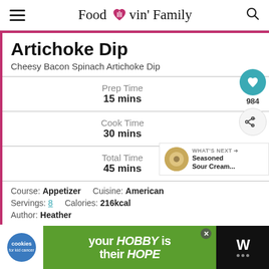Food Lovin' Family
Artichoke Dip
Cheesy Bacon Spinach Artichoke Dip
Prep Time
15 mins
Cook Time
30 mins
Total Time
45 mins
Course: Appetizer   Cuisine: American
Servings: 8   Calories: 216kcal
Author: Heather
[Figure (other): Ad banner — cookies for kid cancer and 'your HOBBY is their HOPE' advertisement]
[Figure (other): What's Next panel showing Seasoned Sour Cream thumbnail]